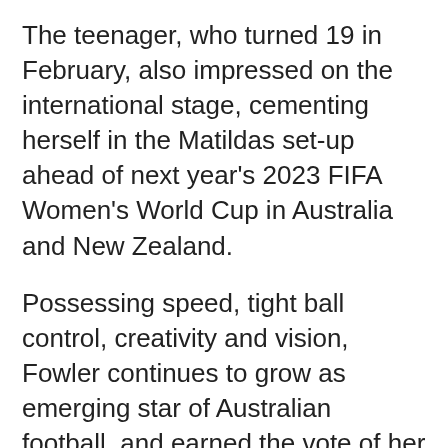The teenager, who turned 19 in February, also impressed on the international stage, cementing herself in the Matildas set-up ahead of next year's 2023 FIFA Women's World Cup in Australia and New Zealand.
Possessing speed, tight ball control, creativity and vision, Fowler continues to grow as emerging star of Australian football, and earned the vote of her peers for the first time.
[Figure (other): Blockquote decorative element with dark blue left border and a quotation mark icon on a light grey background.]
Fowler said: “It’s a special honour for me to win this award, it’s really special and means